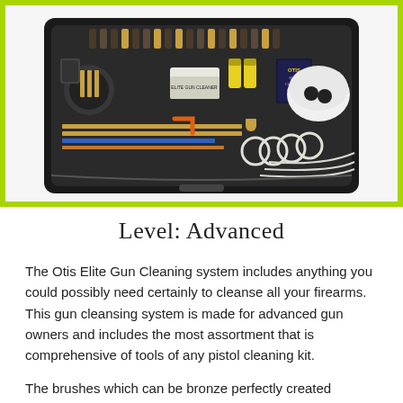[Figure (photo): Photo of an open black zippered gun cleaning kit case (Otis Elite) showing numerous cleaning tools, brushes, cables, solvents, patches, and accessories arranged inside.]
Level: Advanced
The Otis Elite Gun Cleaning system includes anything you could possibly need certainly to cleanse all your firearms. This gun cleansing system is made for advanced gun owners and includes the most assortment that is comprehensive of tools of any pistol cleaning kit.
The brushes which can be bronze perfectly created